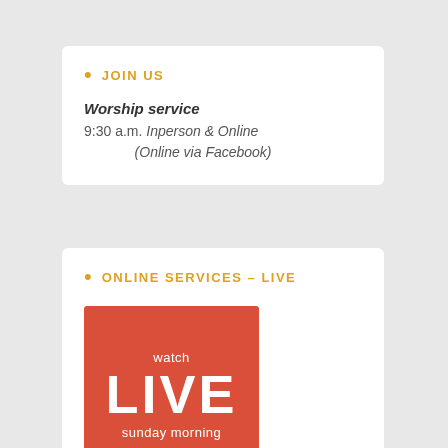JOIN US
Worship service
9:30 a.m. Inperson & Online (Online via Facebook)
ONLINE SERVICES – LIVE
[Figure (illustration): Red square graphic with white text reading 'watch LIVE sunday morning']